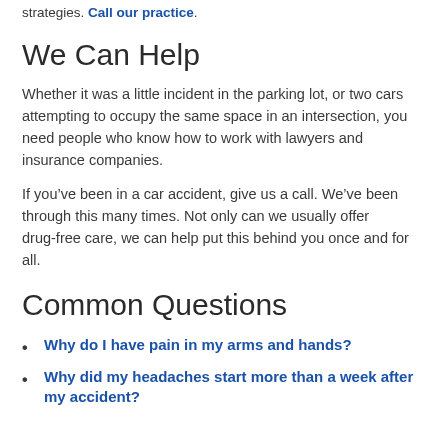strategies. Call our practice.
We Can Help
Whether it was a little incident in the parking lot, or two cars attempting to occupy the same space in an intersection, you need people who know how to work with lawyers and insurance companies.
If you've been in a car accident, give us a call. We've been through this many times. Not only can we usually offer drug-free care, we can help put this behind you once and for all.
Common Questions
Why do I have pain in my arms and hands?
Why did my headaches start more than a week after my accident?